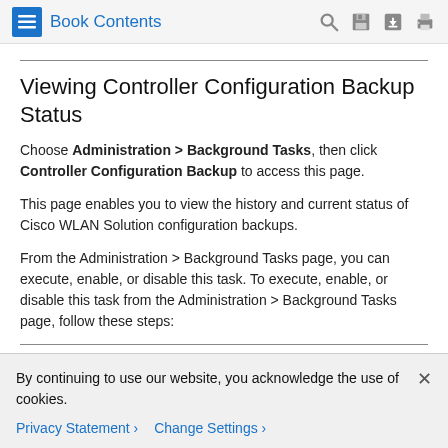Book Contents
Viewing Controller Configuration Backup Status
Choose Administration > Background Tasks, then click Controller Configuration Backup to access this page.
This page enables you to view the history and current status of Cisco WLAN Solution configuration backups.
From the Administration > Background Tasks page, you can execute, enable, or disable this task. To execute, enable, or disable this task from the Administration > Background Tasks page, follow these steps:
Step 1 Choose Administration > Background Tasks
By continuing to use our website, you acknowledge the use of cookies.
Privacy Statement › Change Settings ›